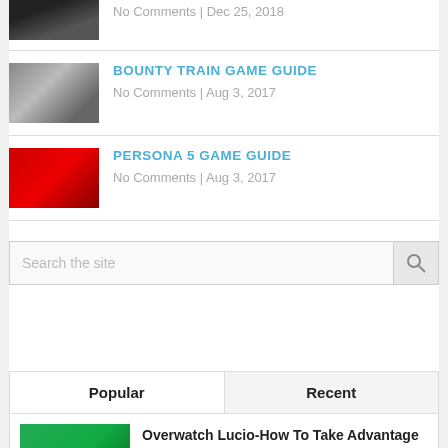No Comments | Dec 25, 2018
BOUNTY TRAIN GAME GUIDE
No Comments | Aug 3, 2017
PERSONA 5 GAME GUIDE
No Comments | Aug 3, 2017
Search the site
| Popular | Recent |
| --- | --- |
Overwatch Lucio-How To Take Advantage Of This Hero